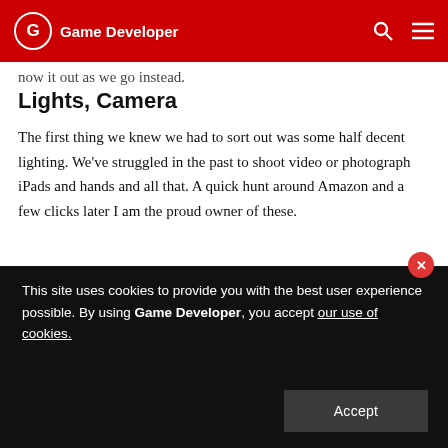Game Developer
now it out as we go instead.
Lights, Camera
The first thing we knew we had to sort out was some half decent lighting. We've struggled in the past to shoot video or photograph iPads and hands and all that. A quick hunt around Amazon and a few clicks later I am the proud owner of these.
[Figure (photo): Image placeholder showing filename 1*dVpNSHXirFGshpwcqF-ZTA.jpeg]
Nothing fancy. Only £58 and just the job for lighting our cool new studio and when I say studio, you know I mean AJ's garage and
This site uses cookies to provide you with the best user experience possible. By using Game Developer, you accept our use of cookies.